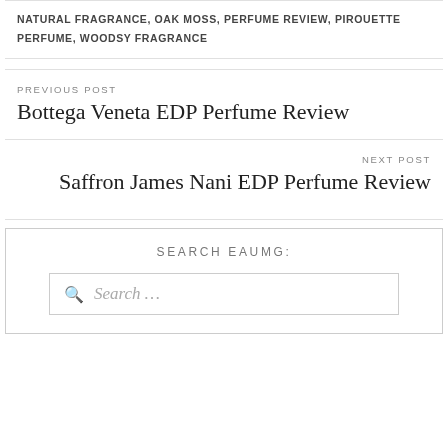NATURAL FRAGRANCE, OAK MOSS, PERFUME REVIEW, PIROUETTE PERFUME, WOODSY FRAGRANCE
PREVIOUS POST
Bottega Veneta EDP Perfume Review
NEXT POST
Saffron James Nani EDP Perfume Review
SEARCH EAUMG:
Search …